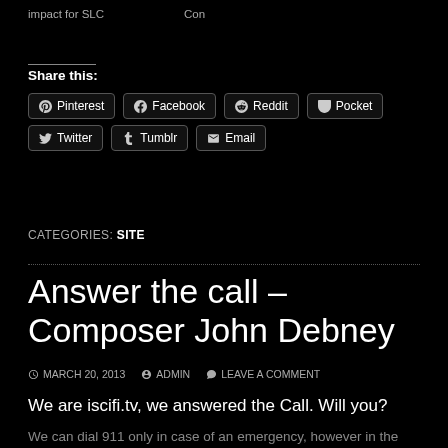impact for SLC    Con
Share this:
Pinterest  Facebook  Reddit  Pocket  Twitter  Tumblr  Email
CATEGORIES: SITE
Answer the call – Composer John Debney
MARCH 20, 2013  ADMIN  LEAVE A COMMENT
We are iscifi.tv, we answered the Call.  Will you?
We can dial 911 only in case of an emergency, however in the movie The Call its more than that! No spoilers here but a past